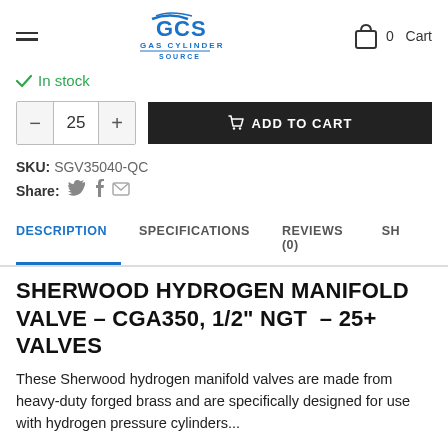GAS CYLINDER SOURCE — 0 Cart
✓ In stock
25  ADD TO CART
SKU: SGV35040-QC
Share: [twitter] [facebook] [email]
DESCRIPTION   SPECIFICATIONS   REVIEWS (0)   SH
SHERWOOD HYDROGEN MANIFOLD VALVE – CGA350, 1/2" NGT  – 25+ VALVES
These Sherwood hydrogen manifold valves are made from heavy-duty forged brass and are specifically designed for use with hydrogen pressure cylinders...